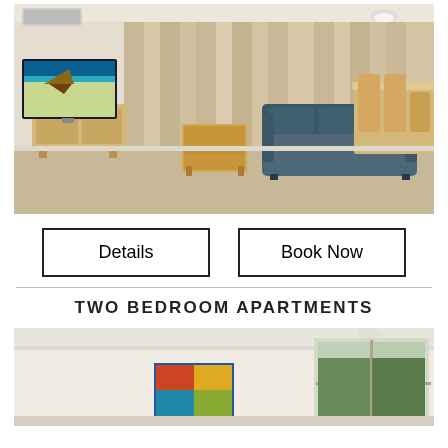[Figure (photo): Interior photo of a one-bedroom apartment living room with grey sofa, wooden coffee table, TV unit, and dining area with curtains in background.]
Details
Book Now
TWO BEDROOM APARTMENTS
[Figure (photo): Partial interior photo of a two-bedroom apartment bedroom with white walls and a window showing greenery outside.]